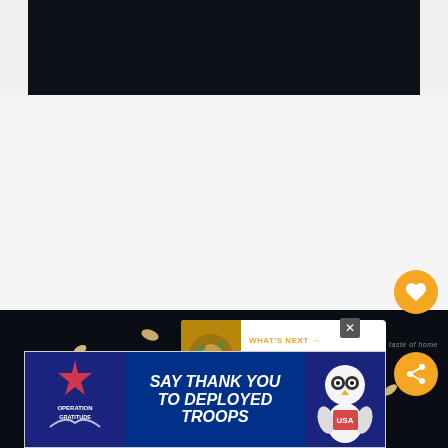[Figure (screenshot): Dark video player block at the top of the page with near-black background]
[Figure (photo): Dark background food photo showing scattered corn kernels or grains on a black surface]
[Figure (infographic): What's Next panel showing Mediterranean Orzo Salad with orange arrow label and food thumbnail]
[Figure (infographic): Operation Gratitude advertisement banner: SAY THANK YOU TO DEPLOYED TROOPS with patriotic imagery]